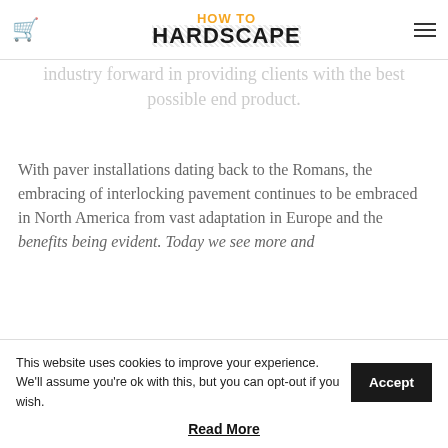HOW TO HARDSCAPE
industry forward in providing clients with the best possible end product.
With paver installations dating back to the Romans, the embracing of interlocking pavement continues to be embraced in North America from vast adaptation in Europe and the benefits being evident. Today we see more and
This website uses cookies to improve your experience. We'll assume you're ok with this, but you can opt-out if you wish. Accept
Read More